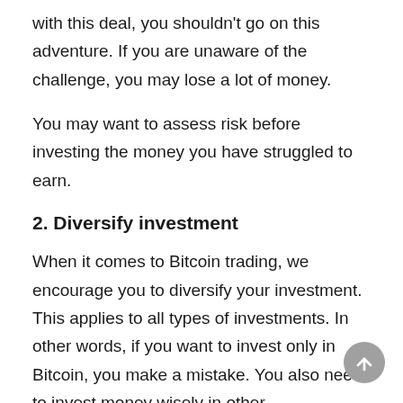with this deal, you shouldn't go on this adventure. If you are unaware of the challenge, you may lose a lot of money.
You may want to assess risk before investing the money you have struggled to earn.
2. Diversify investment
When it comes to Bitcoin trading, we encourage you to diversify your investment. This applies to all types of investments. In other words, if you want to invest only in Bitcoin, you make a mistake. You also need to invest money wisely in other cryptocurrencies.